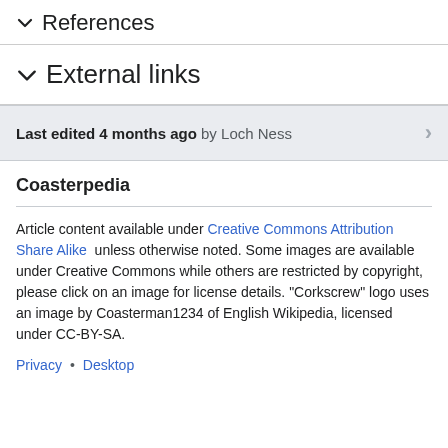References
External links
Last edited 4 months ago by Loch Ness
Coasterpedia
Article content available under Creative Commons Attribution Share Alike unless otherwise noted. Some images are available under Creative Commons while others are restricted by copyright, please click on an image for license details. "Corkscrew" logo uses an image by Coasterman1234 of English Wikipedia, licensed under CC-BY-SA.
Privacy • Desktop